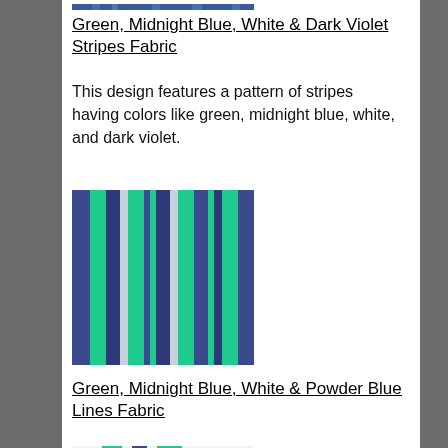[Figure (illustration): Partial view of a striped fabric image at the top of the page, cropped]
Green, Midnight Blue, White & Dark Violet Stripes Fabric
This design features a pattern of stripes having colors like green, midnight blue, white, and dark violet.
[Figure (illustration): Fabric swatch showing vertical stripes in green, midnight blue, white, and dark violet colors]
Green, Midnight Blue, White & Powder Blue Lines Fabric
This design features a green, midnight blue, white, and powder blue colored striped pattern.
[Figure (illustration): Partial view of another striped fabric swatch at the bottom, cropped]